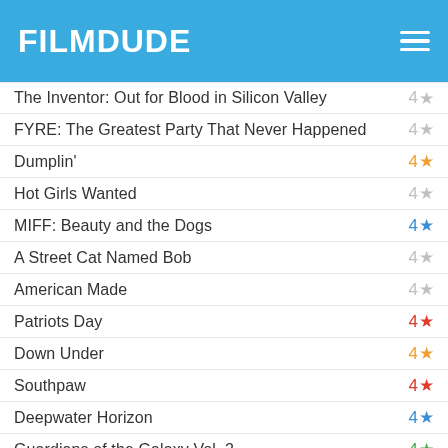FILMDUDE
The Inventor: Out for Blood in Silicon Valley  4★
FYRE: The Greatest Party That Never Happened  4★
Dumplin'  4★
Hot Girls Wanted  4★
MIFF: Beauty and the Dogs  4★
A Street Cat Named Bob  4★
American Made  4★
Patriots Day  4★
Down Under  4★
Southpaw  4★
Deepwater Horizon  4★
Guardians of the Galaxy Vol. 2  4★
Hidden Figures  4★